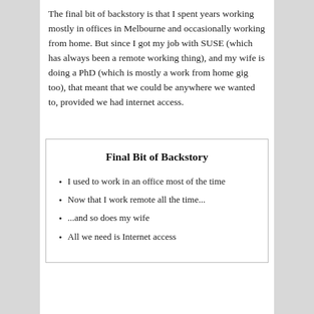The final bit of backstory is that I spent years working mostly in offices in Melbourne and occasionally working from home. But since I got my job with SUSE (which has always been a remote working thing), and my wife is doing a PhD (which is mostly a work from home gig too), that meant that we could be anywhere we wanted to, provided we had internet access.
Final Bit of Backstory
I used to work in an office most of the time
Now that I work remote all the time...
...and so does my wife
All we need is Internet access